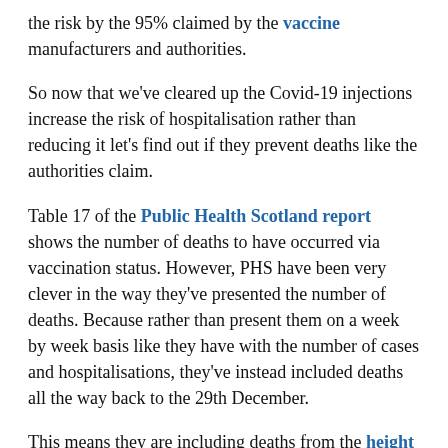the risk by the 95% claimed by the vaccine manufacturers and authorities.
So now that we've cleared up the Covid-19 injections increase the risk of hospitalisation rather than reducing it let's find out if they prevent deaths like the authorities claim.
Table 17 of the Public Health Scotland report shows the number of deaths to have occurred via vaccination status. However, PHS have been very clever in the way they've presented the number of deaths. Because rather than present them on a week by week basis like they have with the number of cases and hospitalisations, they've instead included deaths all the way back to the 29th December.
This means they are including deaths from the height of the alleged second wave of